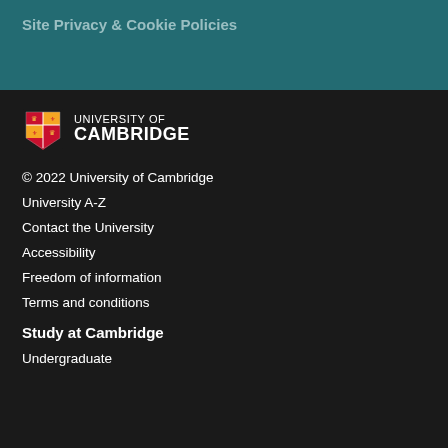Site Privacy & Cookie Policies
[Figure (logo): University of Cambridge shield logo with UNIVERSITY OF CAMBRIDGE text]
© 2022 University of Cambridge
University A-Z
Contact the University
Accessibility
Freedom of information
Terms and conditions
Study at Cambridge
Undergraduate